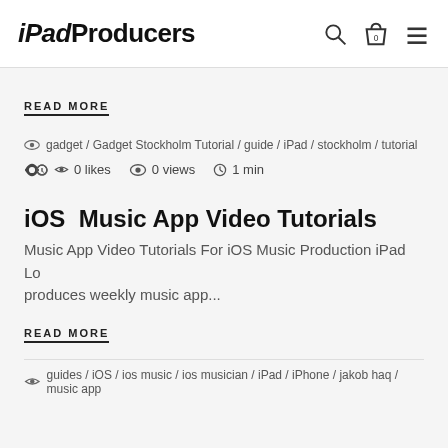iPadProducers
READ MORE
gadget / Gadget Stockholm Tutorial / guide / iPad / stockholm / tutorial
0 likes   0 views   1 min
iOS Music App Video Tutorials
Music App Video Tutorials For iOS Music Production iPad Lo produces weekly music app...
READ MORE
guides / iOS / ios music / ios musician / iPad / iPhone / jakob haq / music app